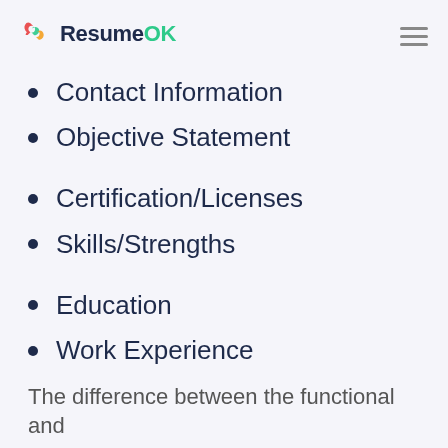ResumeOK
Contact Information
Objective Statement
Certification/Licenses
Skills/Strengths
Education
Work Experience
The difference between the functional and